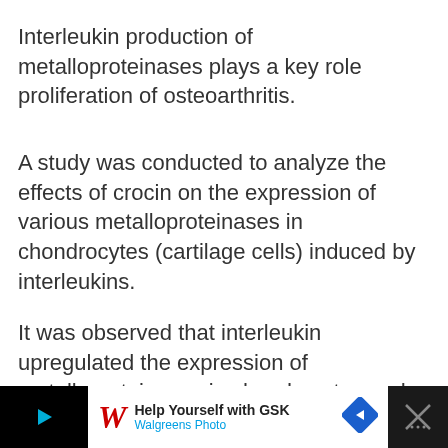Interleukin production of metalloproteinases plays a key role proliferation of osteoarthritis.
A study was conducted to analyze the effects of crocin on the expression of various metalloproteinases in chondrocytes (cartilage cells) induced by interleukins.
It was observed that interleukin upregulated the expression of metalloproteinases in chondrocytes and this expression was inhibited by crocin in a dose-dependent ma...
[Figure (other): Walgreens advertisement banner: Help Yourself with GSK, Walgreens Photo, with Walgreens logo and navigation arrow]